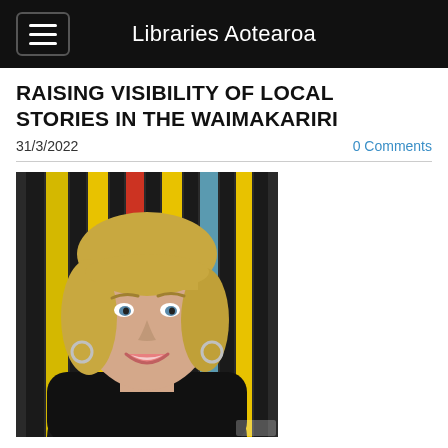Libraries Aotearoa
RAISING VISIBILITY OF LOCAL STORIES IN THE WAIMAKARIRI
31/3/2022
0 Comments
[Figure (photo): Portrait photo of a smiling woman with blonde wavy hair and bangs, wearing a dark turtleneck sweater, with colorful vertical stripes (black, yellow, red, blue) in the background.]